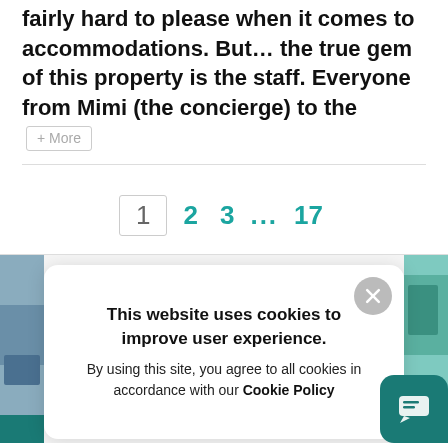fairly hard to please when it comes to accommodations. But… the true gem of this property is the staff. Everyone from Mimi (the concierge) to the [+ More]
1  2  3  ...  17
This website uses cookies to improve user experience. By using this site, you agree to all cookies in accordance with our Cookie Policy